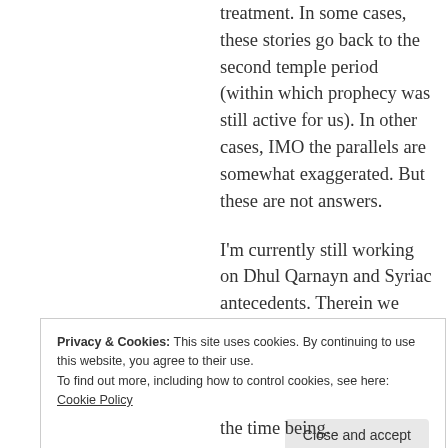treatment. In some cases, these stories go back to the second temple period (within which prophecy was still active for us). In other cases, IMO the parallels are somewhat exaggerated. But these are not answers.
I'm currently still working on Dhul Qarnayn and Syriac antecedents. Therein we hope to touch on a general
Privacy & Cookies: This site uses cookies. By continuing to use this website, you agree to their use.
To find out more, including how to control cookies, see here: Cookie Policy
Close and accept
the time being.